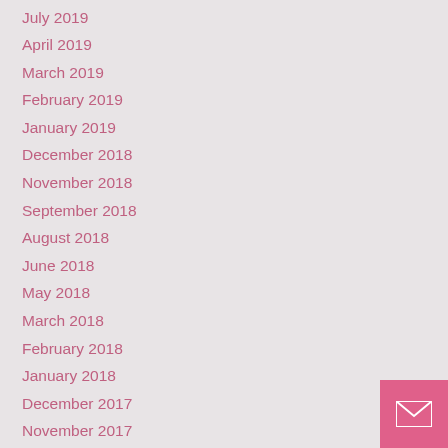July 2019
April 2019
March 2019
February 2019
January 2019
December 2018
November 2018
September 2018
August 2018
June 2018
May 2018
March 2018
February 2018
January 2018
December 2017
November 2017
July 2017
June 2017
January 2017